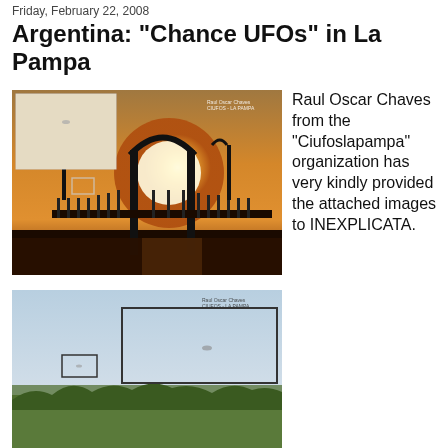Friday, February 22, 2008
Argentina: "Chance UFOs" in La Pampa
[Figure (photo): Sunset photo of a pier/dock structure silhouetted against a bright sun, with a zoomed inset box in the upper left showing a small unidentified object in a hazy sky. Watermark reads: Raul Oscar Chaves / CIUFOS - LA PAMPA]
[Figure (photo): Daytime photo of a landscape with trees in the background and sky, with two rectangles drawn on the image indicating areas of interest where small objects are visible. Watermark reads: Raul Oscar Chaves / CIUFOS - LA PAMPA]
Raul Oscar Chaves from the "Ciufoslapampa" organization has very kindly provided the attached images to INEXPLICATA.